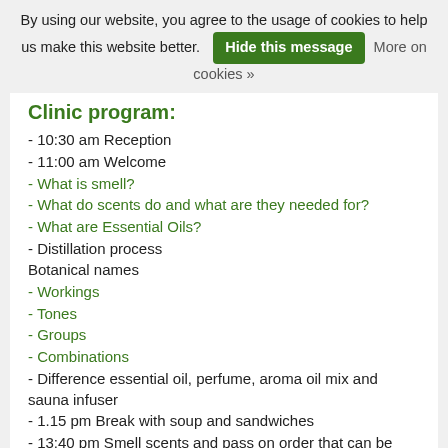By using our website, you agree to the usage of cookies to help us make this website better. [Hide this message] More on cookies »
Clinic program:
- 10:30 am Reception
- 11:00 am Welcome
- What is smell?
- What do scents do and what are they needed for?
- What are Essential Oils?
- Distillation process
Botanical names
- Workings
- Tones
- Groups
- Combinations
- Difference essential oil, perfume, aroma oil mix and sauna infuser
- 1.15 pm Break with soup and sandwiches
- 13:40 pm Smell scents and pass on order that can be taken at the end of the day
- 2:00 pm Dosage and odor strengths
- Transition of smells
- Safety, ice, water and odor during the infusion session
- How much does an infusion cost?
- Theming
- Pouring schedule
- 3:00 pm Workshop infusion